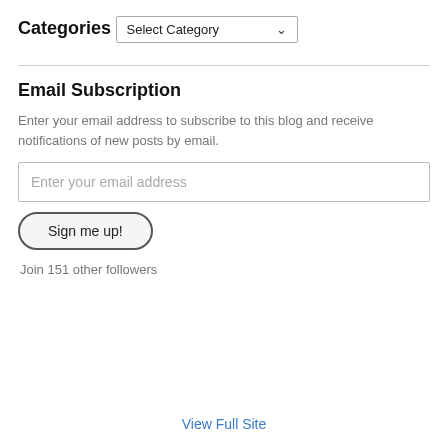Categories
Select Category
Email Subscription
Enter your email address to subscribe to this blog and receive notifications of new posts by email.
Enter your email address
Sign me up!
Join 151 other followers
View Full Site